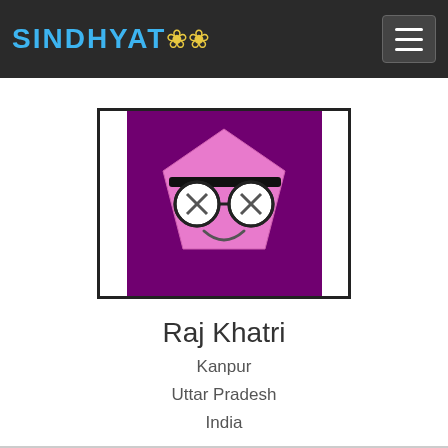SINDHYAT
[Figure (illustration): Cartoon avatar of a pink pentagon-shaped smiley face with glasses on a purple background, inside a white bordered card]
Raj Khatri
Kanpur
Uttar Pradesh
India